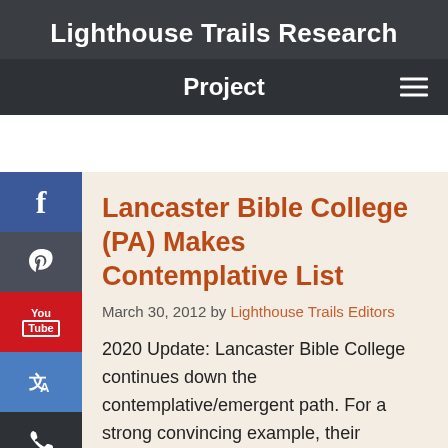Lighthouse Trails Research
Project
Lancaster Bible College (PA) Makes Contemplative List
March 30, 2012 by Lighthouse Trails Editors
2020 Update: Lancaster Bible College continues down the contemplative/emergent path. For a strong convincing example, their